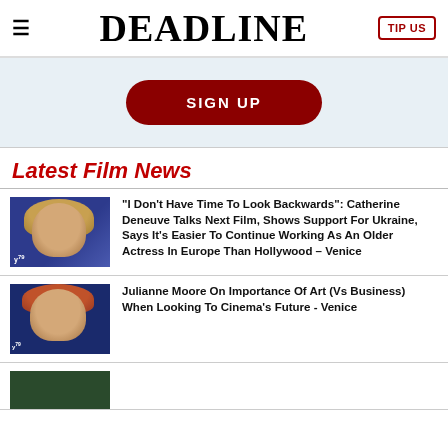DEADLINE
[Figure (other): SIGN UP button on light blue banner background]
Latest Film News
[Figure (photo): Catherine Deneuve photo at Venice 79 film festival, wearing blue outfit]
“I Don’t Have Time To Look Backwards”: Catherine Deneuve Talks Next Film, Shows Support For Ukraine, Says It's Easier To Continue Working As An Older Actress In Europe Than Hollywood – Venice
[Figure (photo): Julianne Moore photo at Venice 79 film festival]
Julianne Moore On Importance Of Art (Vs Business) When Looking To Cinema's Future - Venice